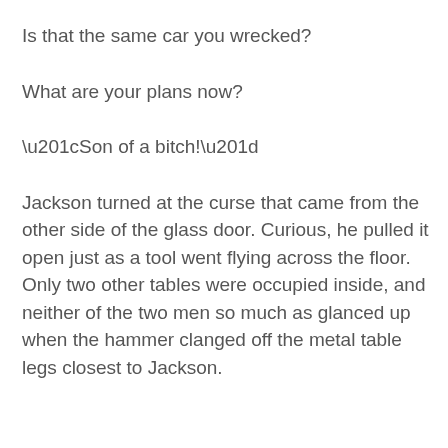Is that the same car you wrecked?
What are your plans now?
“Son of a bitch!”
Jackson turned at the curse that came from the other side of the glass door. Curious, he pulled it open just as a tool went flying across the floor. Only two other tables were occupied inside, and neither of the two men so much as glanced up when the hammer clanged off the metal table legs closest to Jackson.